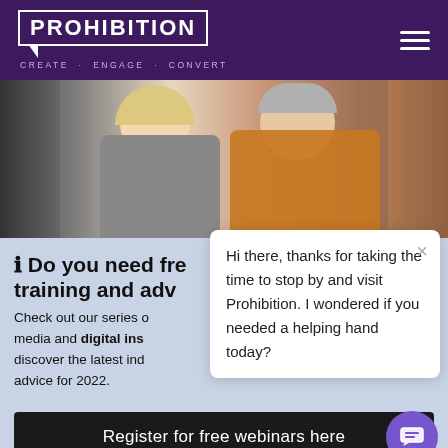PROHIBITION — CREATE · ENGAGE · CONVERT
[Figure (photo): Two women smiling together indoors in front of a brick wall; one with blonde hair wearing a grey checked dress, the other with short grey hair wearing an orange cardigan.]
🛈 Do you need free training and adv...
Check out our series of media and digital ins... discover the latest ind... advice for 2022.
[Figure (screenshot): Chat popup overlay: 'Hi there, thanks for taking the time to stop by and visit Prohibition. I wondered if you needed a helping hand today?' with a close (×) button.]
Register for free webinars here